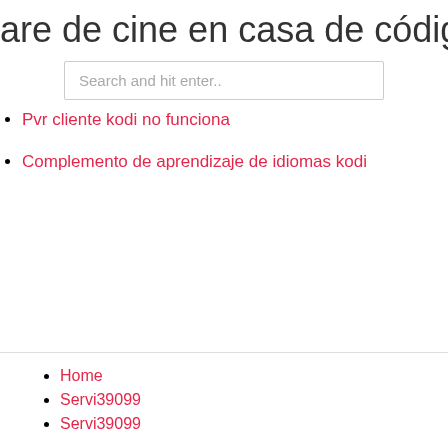are de cine en casa de código abiert
[Figure (other): Search input box with placeholder 'Search and hit enter..']
Pvr cliente kodi no funciona
Complemento de aprendizaje de idiomas kodi
Home
Servi39099
Servi39099